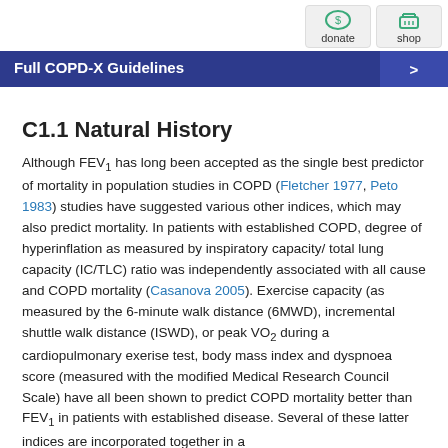donate | shop
Full COPD-X Guidelines
C1.1 Natural History
Although FEV1 has long been accepted as the single best predictor of mortality in population studies in COPD (Fletcher 1977, Peto 1983) studies have suggested various other indices, which may also predict mortality. In patients with established COPD, degree of hyperinflation as measured by inspiratory capacity/ total lung capacity (IC/TLC) ratio was independently associated with all cause and COPD mortality (Casanova 2005). Exercise capacity (as measured by the 6-minute walk distance (6MWD), incremental shuttle walk distance (ISWD), or peak VO2 during a cardiopulmonary exerise test, body mass index and dyspnoea score (measured with the modified Medical Research Council Scale) have all been shown to predict COPD mortality better than FEV1 in patients with established disease. Several of these latter indices are incorporated together in a